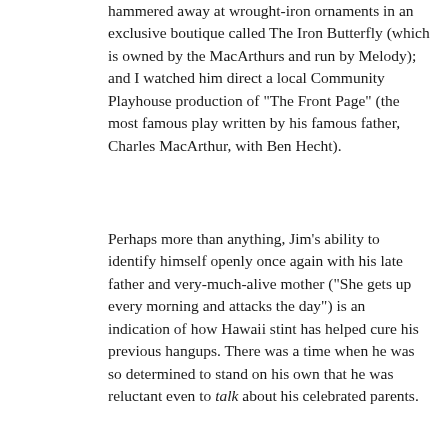hammered away at wrought-iron ornaments in an exclusive boutique called The Iron Butterfly (which is owned by the MacArthurs and run by Melody); and I watched him direct a local Community Playhouse production of "The Front Page" (the most famous play written by his famous father, Charles MacArthur, with Ben Hecht).
Perhaps more than anything, Jim's ability to identify himself openly once again with his late father and very-much-alive mother ("She gets up every morning and attacks the day") is an indication of how Hawaii stint has helped cure his previous hangups. There was a time when he was so determined to stand on his own that he was reluctant even to talk about his celebrated parents.
A lot of this is understandable. He was reared in the renowned MacArthur mansion on the banks of the Hudson River at Nyack, N.Y. The sprawling Victorian estate was a gathering place of the great wits and talents of the day, such as John Barrymore, Robert Benchley, Ben Hecht and the Marx Brothers. The constant contact with such luminaries both delighted and confused young Jim and his sister Mary, later a talented actress who died tragically of polio at the age